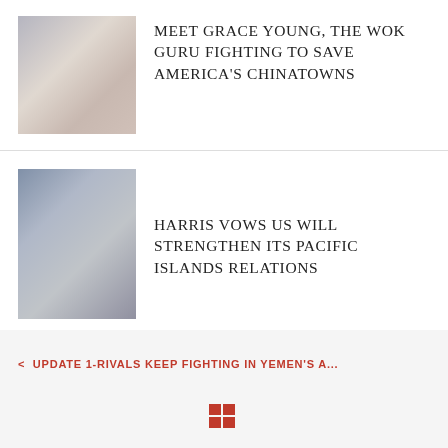[Figure (photo): Photo of Grace Young on a Chinatown street]
MEET GRACE YOUNG, THE WOK GURU FIGHTING TO SAVE AMERICA'S CHINATOWNS
[Figure (photo): Photo of Kamala Harris seated at a desk]
HARRIS VOWS US WILL STRENGTHEN ITS PACIFIC ISLANDS RELATIONS
< UPDATE 1-RIVALS KEEP FIGHTING IN YEMEN'S A...
[Figure (other): Grid/home icon in red]
CLIMATE CHANGE COULD TRIGGER A GLOBAL F... >